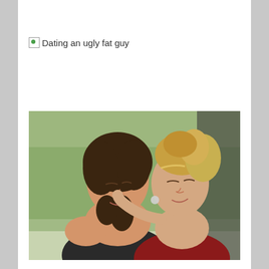Dating an ugly fat guy
[Figure (photo): Two young people leaning close together as if about to kiss. The person on the left has dark wavy hair and wears a black tank top. The person on the right has blonde curly hair pulled up and wears a red top. Green outdoor background.]